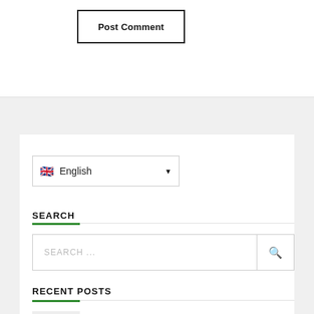[Figure (screenshot): Post Comment button with black border on white background]
[Figure (screenshot): Language selector dropdown showing English with UK flag]
SEARCH
[Figure (screenshot): Search input box with placeholder text SEARCH ... and magnifying glass icon]
RECENT POSTS
The Best Residential Cleaning Tips for a